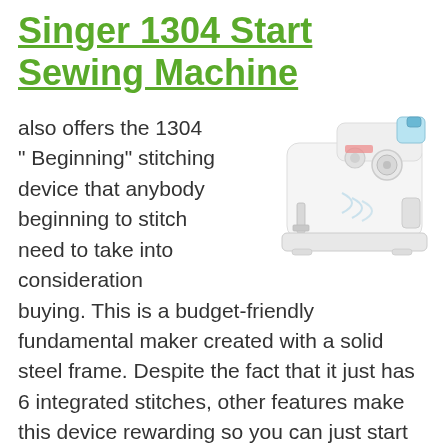Singer 1304 Start Sewing Machine
also offers the 1304 " Beginning" stitching device that anybody beginning to stitch need to take into consideration buying. This is a budget-friendly fundamental maker created with a solid steel frame. Despite the fact that it just has 6 integrated stitches, other features make this device rewarding so you can just start stitching quickly.
[Figure (photo): Photo of a white Singer 1304 Start sewing machine with blue accent details on a white background]
The complete six stitch selections are in...